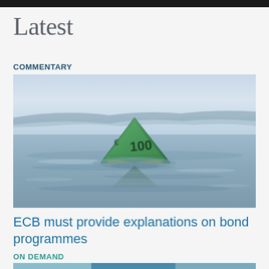Latest
COMMENTARY
[Figure (photo): A 100 euro banknote folded into a triangular shape floating on still water, with a calm lake and distant shoreline in the background.]
ECB must provide explanations on bond programmes
ON DEMAND